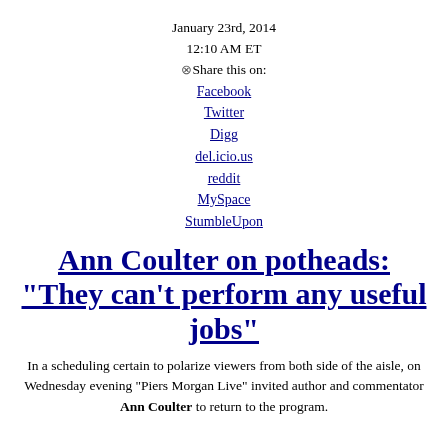January 23rd, 2014
12:10 AM ET
⊗Share this on:
Facebook
Twitter
Digg
del.icio.us
reddit
MySpace
StumbleUpon
Ann Coulter on potheads: "They can't perform any useful jobs"
In a scheduling certain to polarize viewers from both side of the aisle, on Wednesday evening "Piers Morgan Live" invited author and commentator Ann Coulter to return to the program.